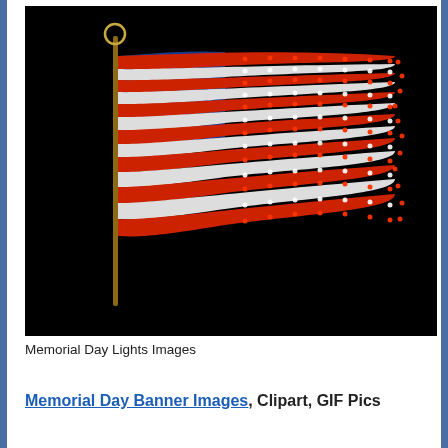[Figure (photo): A US American flag made of LED rope lights (red, white, and blue) against a black background, mounted on a pole with a circular finial. The flag is waving and illuminated.]
Memorial Day Lights Images
Memorial Day Banner Images, Clipart, GIF Pics